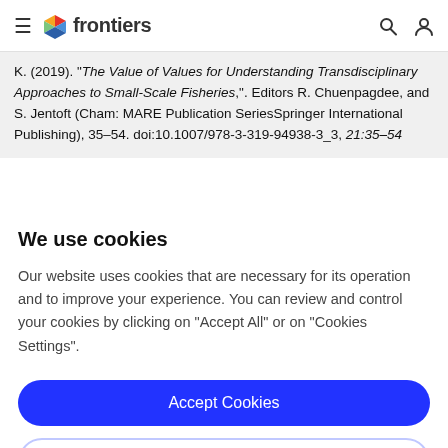frontiers
K. (2019). "The Value of Values for Understanding Transdisciplinary Approaches to Small-Scale Fisheries,". Editors R. Chuenpagdee, and S. Jentoft (Cham: MARE Publication SeriesSpringer International Publishing), 35–54. doi:10.1007/978-3-319-94938-3_3, 21:35–54
We use cookies
Our website uses cookies that are necessary for its operation and to improve your experience. You can review and control your cookies by clicking on "Accept All" or on "Cookies Settings".
Accept Cookies
Cookies Settings